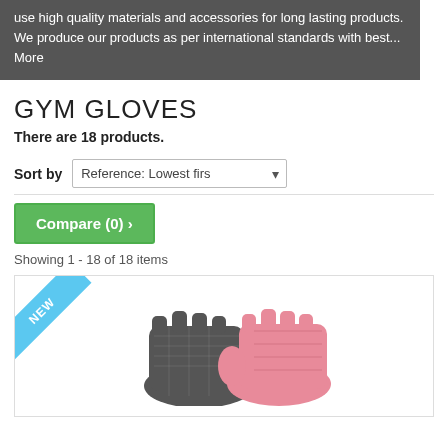use high quality materials and accessories for long lasting products. We produce our products as per international standards with best...
More
GYM GLOVES
There are 18 products.
Sort by  Reference: Lowest firs
Compare (0) >
Showing 1 - 18 of 18 items
[Figure (photo): Gym gloves product photo showing black and pink fingerless workout gloves with a NEW ribbon badge in the top left corner]